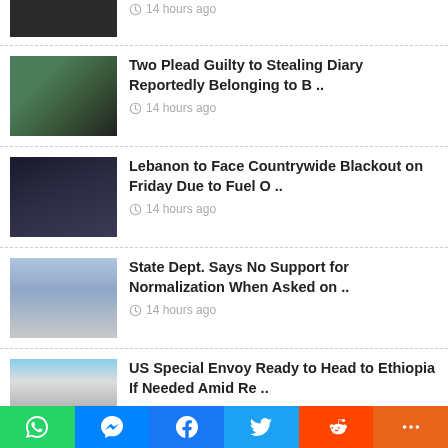14 hours ago (partial top item)
Two Plead Guilty to Stealing Diary Reportedly Belonging to B .. — 14 hours ago
Lebanon to Face Countrywide Blackout on Friday Due to Fuel O .. — 14 hours ago
State Dept. Says No Support for Normalization When Asked on .. — 14 hours ago
US Special Envoy Ready to Head to Ethiopia If Needed Amid Re .. — 14 hours ago